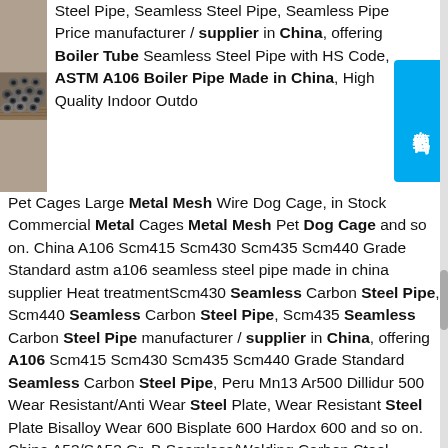[Figure (photo): Metal hexagonal steel pipe/tube cut sections stacked on a wooden pallet, showing hollow centers, industrial setting.]
Steel Pipe, Seamless Steel Pipe, Seamless Pipe Price manufacturer / supplier in China, offering Boiler Tube Seamless Steel Pipe with HS Code, ASTM A106 Boiler Pipe Made in China, High Quality Indoor Outdo Pet Cages Large Metal Mesh Wire Dog Cage, in Stock Commercial Metal Cages Metal Mesh Pet Dog Cage and so on. China A106 Scm415 Scm430 Scm435 Scm440 Grade Standard astm a106 seamless steel pipe made in china supplier Heat treatmentScm430 Seamless Carbon Steel Pipe, Scm440 Seamless Carbon Steel Pipe, Scm435 Seamless Carbon Steel Pipe manufacturer / supplier in China, offering A106 Scm415 Scm430 Scm435 Scm440 Grade Standard Seamless Carbon Steel Pipe, Peru Mn13 Ar500 Dillidur 500 Wear Resistant/Anti Wear Steel Plate, Wear Resistant Steel Plate Bisalloy Wear 600 Bisplate 600 Hardox 600 and so on. China A53/SA53 Gr. B Seamless/Welding Carbon Steel Tube/Pipe astm a106 seamless steel pipe made in china supplier Heat treatmentChina A53/SA53 Gr. B Seamless/Welding Carbon Steel Tube/Pipe for Mechanical/Structural Using/Water Pipe/Building Material/Steel Material. Find details about China A53 Seamless Pipe